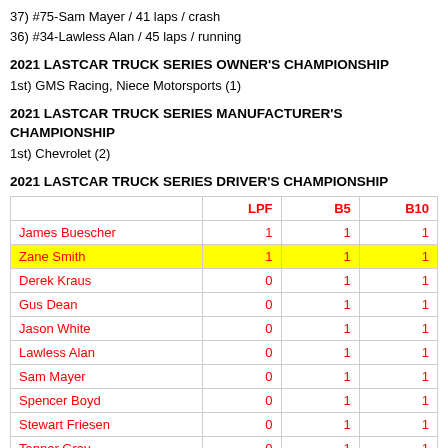37) #75-Sam Mayer / 41 laps / crash
36) #34-Lawless Alan / 45 laps / running
2021 LASTCAR TRUCK SERIES OWNER'S CHAMPIONSHIP
1st) GMS Racing, Niece Motorsports (1)
2021 LASTCAR TRUCK SERIES MANUFACTURER'S CHAMPIONSHIP
1st) Chevrolet (2)
2021 LASTCAR TRUCK SERIES DRIVER'S CHAMPIONSHIP
|  | LPF | B5 | B10 |
| --- | --- | --- | --- |
| James Buescher | 1 | 1 | 1 |
| Zane Smith | 1 | 1 | 1 |
| Derek Kraus | 0 | 1 | 1 |
| Gus Dean | 0 | 1 | 1 |
| Jason White | 0 | 1 | 1 |
| Lawless Alan | 0 | 1 | 1 |
| Sam Mayer | 0 | 1 | 1 |
| Spencer Boyd | 0 | 1 | 1 |
| Stewart Friesen | 0 | 1 | 1 |
| Tanner Gray | 0 | 1 | 1 |